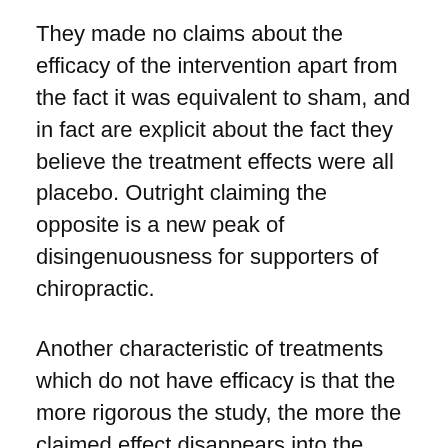They made no claims about the efficacy of the intervention apart from the fact it was equivalent to sham, and in fact are explicit about the fact they believe the treatment effects were all placebo. Outright claiming the opposite is a new peak of disingenuousness for supporters of chiropractic.
Another characteristic of treatments which do not have efficacy is that the more rigorous the study, the more the claimed effect disappears into the statistical noise. To be definitive about a lack of efficacy, a much larger study would be needed.
The results above would not inspire me to spend a couple of million dollars on a study with 200 people in every arm. Results like this over the years have killed off hundreds of medications which were being developed by Big Pharma.